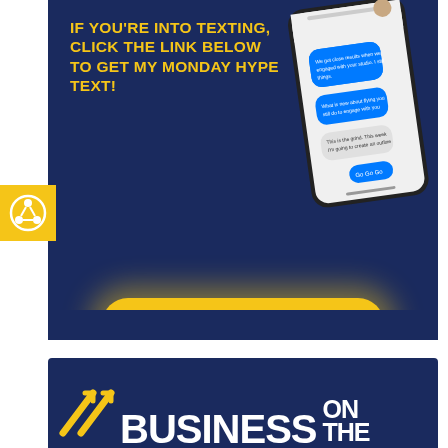IF YOU'RE INTO TEXTING, CLICK THE LINK BELOW TO GET MY MONDAY HYPE TEXT!
[Figure (illustration): Smartphone showing a text message conversation with blue chat bubbles on a white background, tilted slightly]
[Figure (logo): Yellow square with a circular sharing/podcast icon in white]
GET THE HYPE TEXT
[Figure (illustration): Dark navy blue banner with diagonal yellow arrow lines and text reading BUSINESS ON THE in large bold white letters]